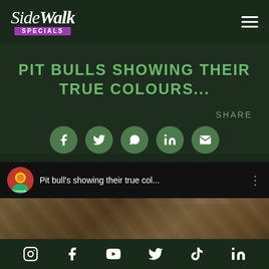SideWalk Specials
PIT BULLS SHOWING THEIR TRUE COLOURS...
SHARE
[Figure (screenshot): YouTube video embed showing 'Pit bull's showing their true col...' with channel avatar and video thumbnail of a dog]
Social media icons: Instagram, Facebook, YouTube, Twitter, TikTok, LinkedIn